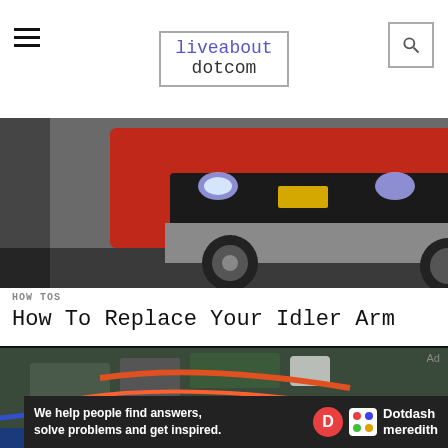liveabout dotcom
[Figure (photo): Red Chevrolet truck on a factory line or auto show floor, front view]
HOW TOS
How To Replace Your Idler Arm
[Figure (photo): Car engine bay with jumper cables attached, blue car with hood open]
Ad
We help people find answers, solve problems and get inspired. Dotdash meredith